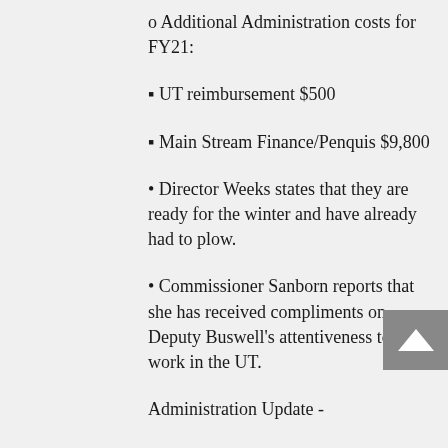o Additional Administration costs for FY21:
▪ UT reimbursement $500
▪ Main Stream Finance/Penquis $9,800
• Director Weeks states that they are ready for the winter and have already had to plow.
• Commissioner Sanborn reports that she has received compliments on Deputy Buswell's attentiveness to the work in the UT.
Administration Update -